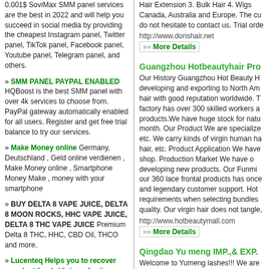0.001$ SoviMax SMM panel services are the best in 2022 and will help you succeed in social media by providing the cheapest Instagram panel, Twitter panel, TikTok panel, Facebook panel, Youtube panel, Telegram panel, and others.
» SMM PANEL PAYPAL ENABLED HQBoost is the best SMM panel with over 4k services to choose from. PayPal gateway automatically enabled for all users. Register and get free trial balance to try our services.
» Make Money online Germany, Deutschland , Geld online verdienen , Make Money online , Smartphone Money Make , money with your smartphone
» BUY DELTA 8 VAPE JUICE, DELTA 8 MOON ROCKS, HHC VAPE JUICE, DELTA 8 THC VAPE JUICE Premium Delta 8 THC, HHC, CBD Oil, THCO and more.
» Lucenteq Helps you to recover your lost funds Victims of online frauds can get their money back through Lucenteq services.. We specialize in dealing with online scams. We provide reimbursement to the victims of fraud brokers through many techniques
» London Escorts London Escort Agency Girls Near By Outcall Female Escorts Cheap Local Escorts
» smm panel SMMWERS is an SMM
Hair Extension 3. Bulk Hair 4. Wigs Canada, Australia and Europe. The cu do not hesitate to contact us. Trial orde
http://www.dorishair.net
»» More Details
Guangzhou Hotbeautyhair Pro
Our History Guangzhou Hot Beauty H developing and exporting to North Am hair with good reputation worldwide. T factory has over 300 skilled workers a products.We have huge stock for natu month. Our Product We are specialize etc. We carry kinds of virgin human ha hair, etc. Product Application We have shop. Production Market We have o developing new products. Our Funmi our 360 lace frontal products has once and legendary customer support. Hot requirements when selecting bundles quality. Our virgin hair does not tangle,
http://www.hotbeautymall.com
»» More Details
Qingdao Yu meng IMP.,& EXP.
Welcome to Yumeng lashes!!! We are lashes, pony hair lashes... Dear, We eyelashes make your eyes totally diff will never be the same on the street! B lashes design to meet any look a lady desire. Every worker in yumeng factor making every detail of our products pe Yumeng lashes. You choose confiden